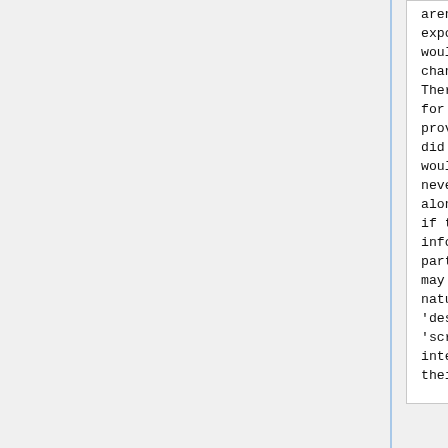aren't being used or exposed prominently, they would be surprised by this change.
There is little incentive for developers to have provided this data if they did not anticipate that it would get used, as we have never checked for it, let alone validated it. Even if the showing of this information in this particular user interface may come as a surprise, by nature both a site's 'description' and 'screenshots' are clearly intended to represent their property.
Furthermore, it is hard to determine whether people will be surprised by this change or delighted, because developer